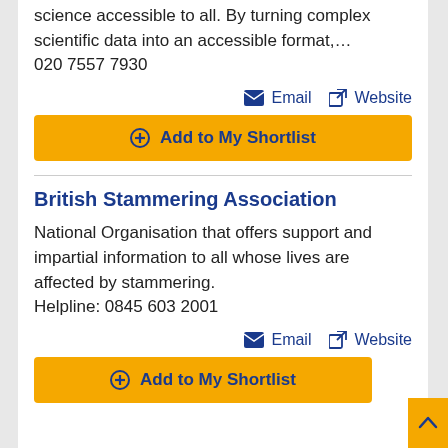science accessible to all. By turning complex scientific data into an accessible format,…
020 7557 7930
Email  Website
Add to My Shortlist
British Stammering Association
National Organisation that offers support and impartial information to all whose lives are affected by stammering.
Helpline: 0845 603 2001
Email  Website
Add to My Shortlist